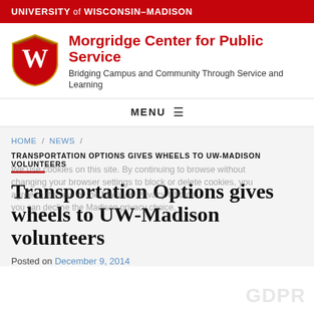UNIVERSITY of WISCONSIN-MADISON
Morgridge Center for Public Service
Bridging Campus and Community Through Service and Learning
MENU
HOME / NEWS /
TRANSPORTATION OPTIONS GIVES WHEELS TO UW-MADISON VOLUNTEERS
Transportation Options gives wheels to UW-Madison volunteers
Posted on December 9, 2014